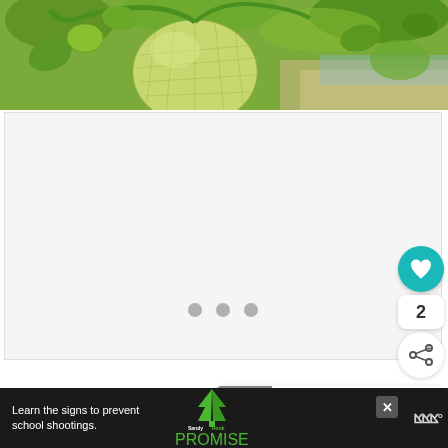[Figure (photo): Close-up photo of a cantaloupe melon growing on the vine in a greenhouse or field, with green vines, leaves, and sandy/mulched ground visible in the background.]
[Figure (other): White content area with three gray pagination dots centered, a teal heart/like button on the right, a count of 2, and a share button below it.]
2
WHAT'S NEXT → Can Ducks Eat Cicadas?
Learn the signs to prevent school shootings.